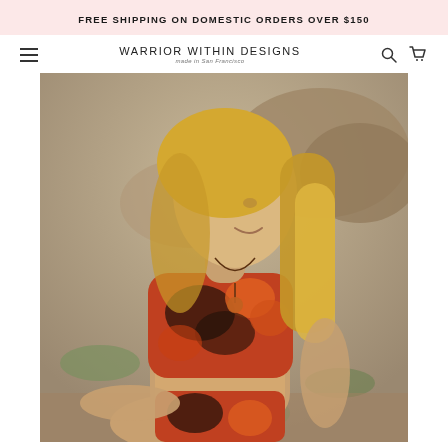FREE SHIPPING ON DOMESTIC ORDERS OVER $150
[Figure (logo): Warrior Within Designs logo with text 'made in San Francisco']
[Figure (photo): A woman with long blonde hair wearing a red, orange, and black tie-dye crop top sports bra and matching shorts, sitting in a meditative pose outdoors in a desert rocky landscape, looking upward with a smile, wearing a pendant necklace.]